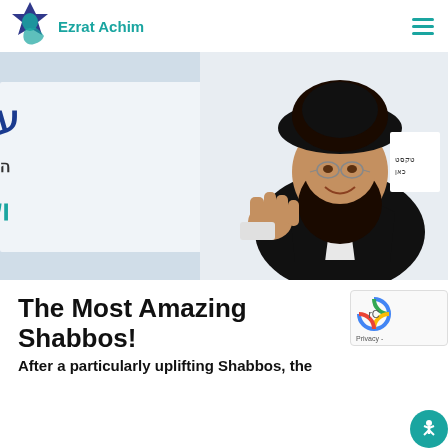Ezrat Achim
[Figure (photo): A Jewish rabbi wearing traditional black Hasidic attire and a large fur shtreimel hat, with a beard and glasses, gesturing with his hand. Behind him is a banner with Hebrew text including the Ezrat Achim organization name.]
The Most Amazing Shabbos!
After a particularly uplifting Shabbos, the